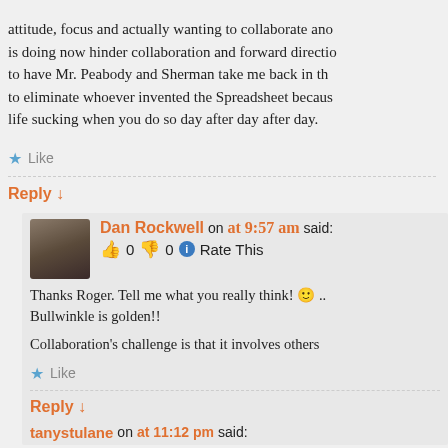attitude, focus and actually wanting to collaborate and is doing now hinder collaboration and forward direction to have Mr. Peabody and Sherman take me back in th to eliminate whoever invented the Spreadsheet becaus life sucking when you do so day after day after day.
Like
Reply ↓
Dan Rockwell on at 9:57 am said: 👍 0 👎 0 ℹ Rate This
Thanks Roger. Tell me what you really think! 🙂 .. Bullwinkle is golden!!
Collaboration's challenge is that it involves others
Like
Reply ↓
tanystulane on at 11:12 pm said: